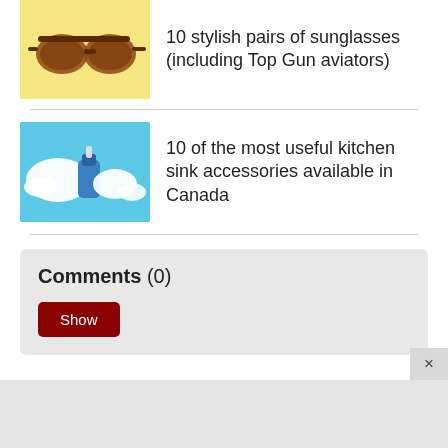[Figure (photo): Sunglasses on a yellow background]
10 stylish pairs of sunglasses (including Top Gun aviators)
[Figure (photo): Kitchen sink accessories — soap/cream splashes on a blue background]
10 of the most useful kitchen sink accessories available in Canada
Comments (0)
Show